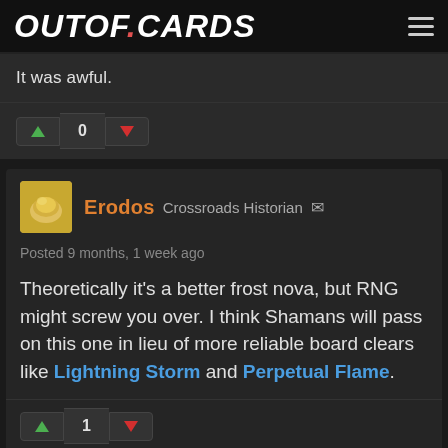OUTOF.CARDS
It was awful.
0
Erodos  Crossroads Historian
Posted 9 months, 1 week ago
Theoretically it's a better frost nova, but RNG might screw you over. I think Shamans will pass on this one in lieu of more reliable board clears like Lightning Storm and Perpetual Flame.
1